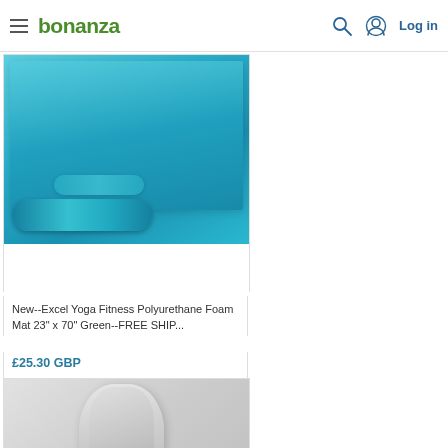bonanza — Log in
[Figure (photo): Blue polyurethane foam yoga mat, folded and rolled, shown on a beige carpet background]
New--Excel Yoga Fitness Polyurethane Foam Mat 23" x 70" Green--FREE SHIP...
£25.30 GBP
[Figure (photo): White/grey fabric item (sock or cloth bag) shown upright against a light background, with a small blue logo mark visible]